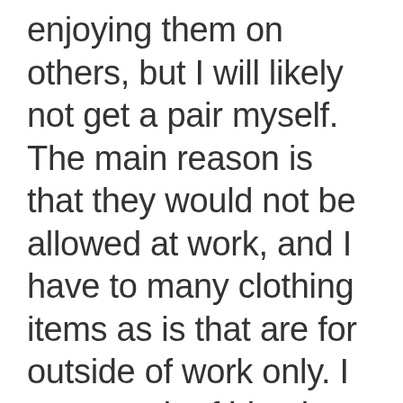enjoying them on others, but I will likely not get a pair myself. The main reason is that they would not be allowed at work, and I have to many clothing items as is that are for outside of work only. I own a pair of blue long and loose CM shorts from last year that I have not worn much at all and that I will try to style as my culottes for fu
August 4, 2014 at 5:50 am